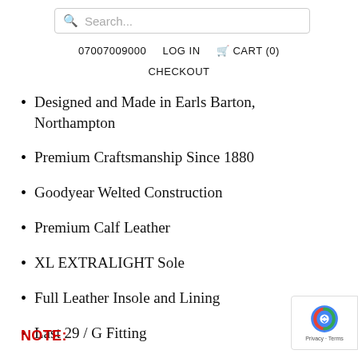[Figure (screenshot): Search bar with magnifying glass icon and placeholder text 'Search...']
07007009000   LOG IN   🛒 CART (0)
CHECKOUT
Designed and Made in Earls Barton, Northampton
Premium Craftsmanship Since 1880
Goodyear Welted Construction
Premium Calf Leather
XL EXTRALIGHT Sole
Full Leather Insole and Lining
Last 29 / G Fitting
NOTE: